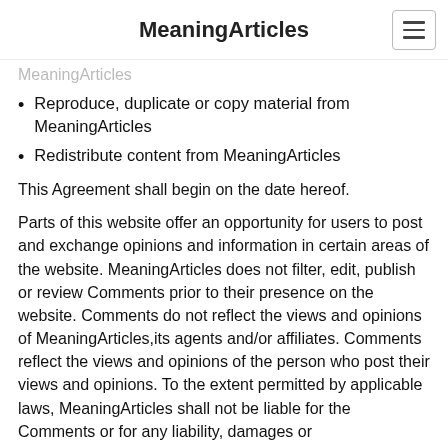MeaningArticles
Reproduce, duplicate or copy material from MeaningArticles
Redistribute content from MeaningArticles
This Agreement shall begin on the date hereof.
Parts of this website offer an opportunity for users to post and exchange opinions and information in certain areas of the website. MeaningArticles does not filter, edit, publish or review Comments prior to their presence on the website. Comments do not reflect the views and opinions of MeaningArticles,its agents and/or affiliates. Comments reflect the views and opinions of the person who post their views and opinions. To the extent permitted by applicable laws, MeaningArticles shall not be liable for the Comments or for any liability, damages or